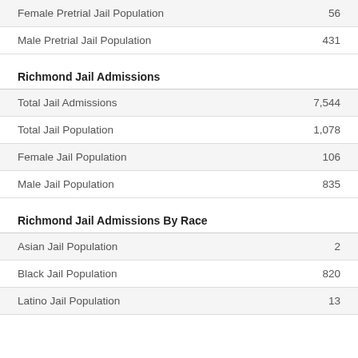| Female Pretrial Jail Population | 56 |
| Male Pretrial Jail Population | 431 |
Richmond Jail Admissions
| Total Jail Admissions | 7,544 |
| Total Jail Population | 1,078 |
| Female Jail Population | 106 |
| Male Jail Population | 835 |
Richmond Jail Admissions By Race
| Asian Jail Population | 2 |
| Black Jail Population | 820 |
| Latino Jail Population | 13 |